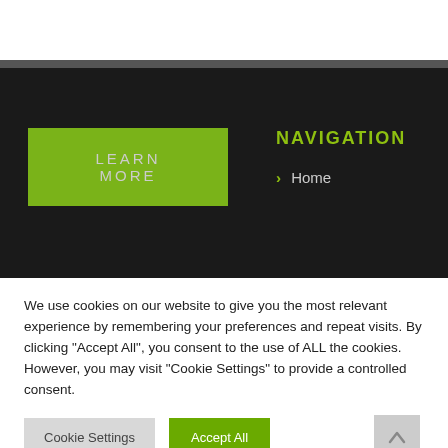[Figure (screenshot): Website navigation section with dark background showing a green 'LEARN MORE' button on the left and a 'NAVIGATION' heading with '> Home' link on the right]
We use cookies on our website to give you the most relevant experience by remembering your preferences and repeat visits. By clicking "Accept All", you consent to the use of ALL the cookies. However, you may visit "Cookie Settings" to provide a controlled consent.
Cookie Settings | Accept All